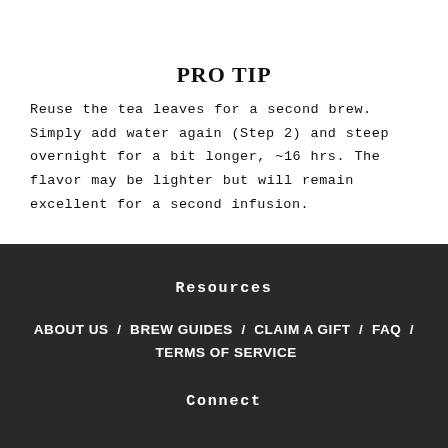PRO TIP
Reuse the tea leaves for a second brew. Simply add water again (Step 2) and steep overnight for a bit longer, ~16 hrs. The flavor may be lighter but will remain excellent for a second infusion.
Resources
ABOUT US  /  BREW GUIDES  /  CLAIM A GIFT  /  FAQ  /  TERMS OF SERVICE
Connect